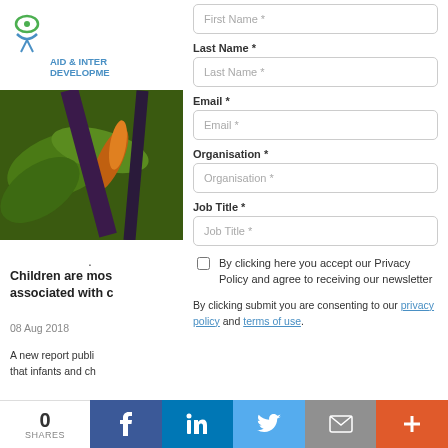[Figure (logo): Aid & International Development Forum logo with eye/person icon in green and blue]
[Figure (photo): Colorful tropical foliage photo]
·
Children are most associated with c
08 Aug 2018
A new report publi that infants and ch
First Name *
Last Name *
Last Name *
Email *
Email *
Organisation *
Organisation *
Job Title *
Job Title *
By clicking here you accept our Privacy Policy and agree to receiving our newsletter
By clicking submit you are consenting to our privacy policy and terms of use.